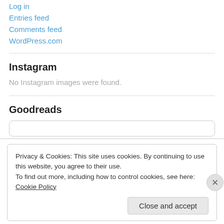Log in
Entries feed
Comments feed
WordPress.com
Instagram
No Instagram images were found.
Goodreads
Privacy & Cookies: This site uses cookies. By continuing to use this website, you agree to their use.
To find out more, including how to control cookies, see here: Cookie Policy
Close and accept